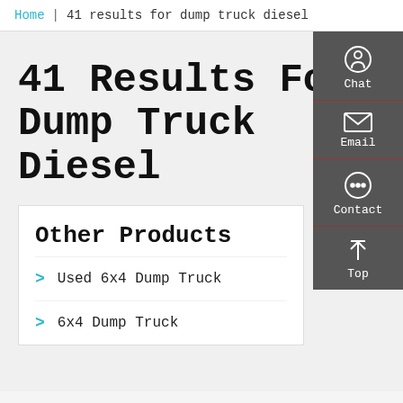Home  |  41 results for dump truck diesel
41 Results For Dump Truck Diesel
Other Products
Used 6x4 Dump Truck
6x4 Dump Truck